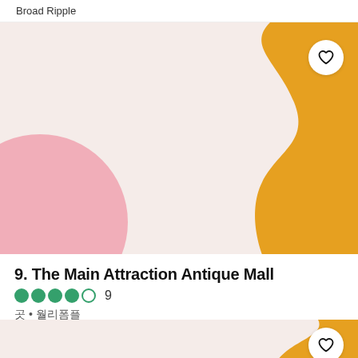Broad Ripple
[Figure (illustration): Decorative card image with pink semicircle on left and gold/amber wavy shape on right against light pink background, with a white heart/favorite button in top right]
9. The Main Attraction Antique Mall
4 out of 5 dots rating, 9 reviews
아시아 • 앤티크몰
[Figure (illustration): Decorative card image with gold/amber wavy shape on right against light pink background, with a white heart/favorite button in top right]